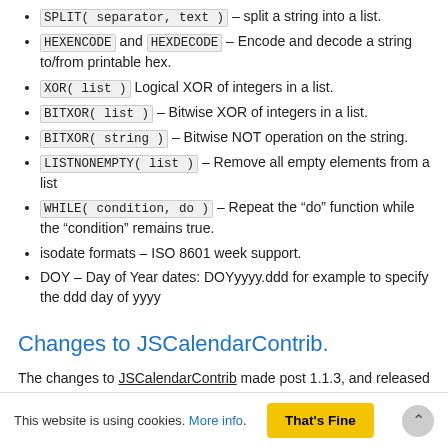SPLIT( separator, text ) – split a string into a list.
HEXENCODE and HEXDECODE – Encode and decode a string to/from printable hex.
XOR( list ) Logical XOR of integers in a list.
BITXOR( list ) – Bitwise XOR of integers in a list.
BITXOR( string ) – Bitwise NOT operation on the string.
LISTNONEMPTY( list ) – Remove all empty elements from a list
WHILE( condition, do ) – Repeat the "do" function while the "condition" remains true.
isodate formats – ISO 8601 week support.
DOY – Day of Year dates: DOYyyyy.ddd for example to specify the ddd day of yyyy
Changes to JSCalendarContrib.
The changes to JSCalendarContrib made post 1.1.3, and released in JSCalendarContrib version 1.4.x have been reverted. The changes attempted to make dates stored in the topic in per the requested JSCalendarContrib format.